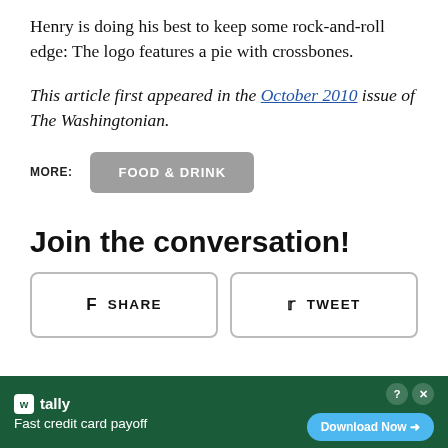Henry is doing his best to keep some rock-and-roll edge: The logo features a pie with crossbones.
This article first appeared in the October 2010 issue of The Washingtonian.
MORE: FOOD & DRINK
Join the conversation!
SHARE   TWEET
[Figure (other): Advertisement bar for Tally app: Fast credit card payoff. Download Now button.]